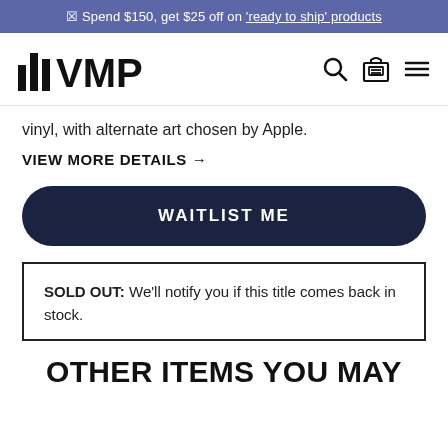☒ Spend $150, get $25 off on 'ready to ship' products
[Figure (logo): VMP (Vinyl Me Please) logo with bar graph icon and navigation icons (search, box, menu)]
vinyl, with alternate art chosen by Apple.
VIEW MORE DETAILS →
WAITLIST ME
SOLD OUT: We'll notify you if this title comes back in stock.
OTHER ITEMS YOU MAY